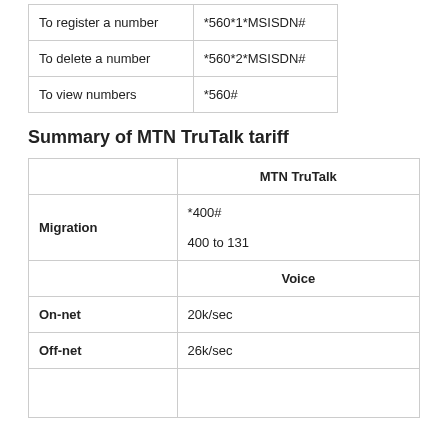|  |  |
| --- | --- |
| To register a number | *560*1*MSISDN# |
| To delete a number | *560*2*MSISDN# |
| To view numbers | *560# |
Summary of MTN TruTalk tariff
|  | MTN TruTalk |
| --- | --- |
| Migration | *400#
400 to 131 |
|  | Voice |
| On-net | 20k/sec |
| Off-net | 26k/sec |
|  |  |